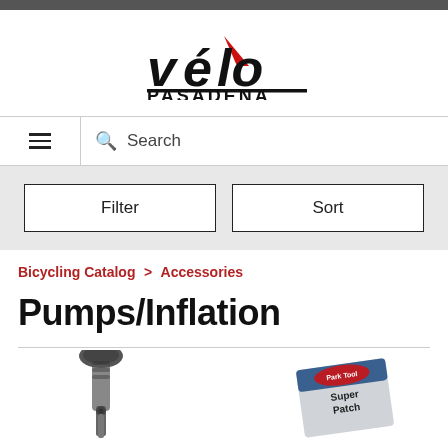[Figure (logo): Velo Pasadena logo with red triangle accent above the word 'velo' and 'PASADENA' in bold black text below]
[Figure (screenshot): Navigation bar with hamburger menu icon on left and search bar with magnifying glass icon and 'Search' placeholder text]
[Figure (screenshot): Filter and Sort buttons in a gray bar]
Bicycling Catalog > Accessories
Pumps/Inflation
[Figure (photo): Partial view of two bicycle pump products at the bottom of the page - left shows a dark-handled floor pump, right shows a Park Tool Super Patch kit]